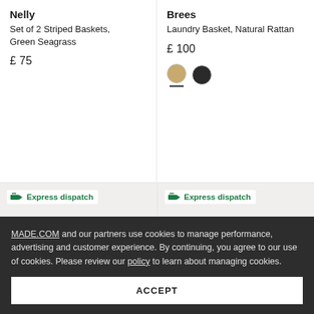Nelly
Set of 2 Striped Baskets, Green Seagrass
£ 75
Brees
Laundry Basket, Natural Rattan
£ 100
[Figure (other): Color swatches: tan/natural and black]
Express dispatch
[Figure (photo): Woven seagrass basket with handles on light beige background]
Express dispatch
[Figure (photo): White plate with dark frame element on light beige background]
MADE.COM and our partners use cookies to manage performance, advertising and customer experience. By continuing, you agree to our use of cookies. Please review our policy to learn about managing cookies.
ACCEPT